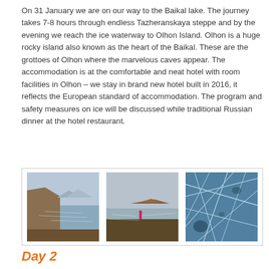On 31 January we are on our way to the Baikal lake. The journey takes 7-8 hours through endless Tazheranskaya steppe and by the evening we reach the ice waterway to Olhon Island. Olhon is a huge rocky island also known as the heart of the Baikal. These are the grottoes of Olhon where the marvelous caves appear. The accommodation is at the comfortable and neat hotel with room facilities in Olhon – we stay in brand new hotel built in 2016, it reflects the European standard of accommodation. The program and safety measures on ice will be discussed while traditional Russian dinner at the hotel restaurant.
[Figure (photo): Three photos side by side: left shows a rocky cliff and frozen lake shore, center shows a person standing on rocks with icy lake and island in distance, right shows cracked blue ice patterns on Lake Baikal.]
Day 2